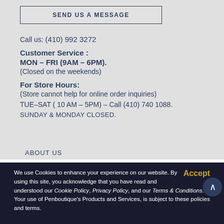SEND US A MESSAGE
Call us: (410) 992 3272
Customer Service :
MON – FRI (9AM – 6PM).
(Closed on the weekends)
For Store Hours:
(Store cannot help for online order inquiries)
TUE–SAT ( 10 AM – 5PM) – Call (410) 740 1088.
SUNDAY & MONDAY CLOSED.
ABOUT US
We use Cookies to enhance your experience on our website. By using this site, you acknowledge that you have read and understood our Cookie Policy, Privacy Policy, and our Terms & Conditions. Your use of Penboutique's Products and Services, is subject to these policies and terms.
Accept